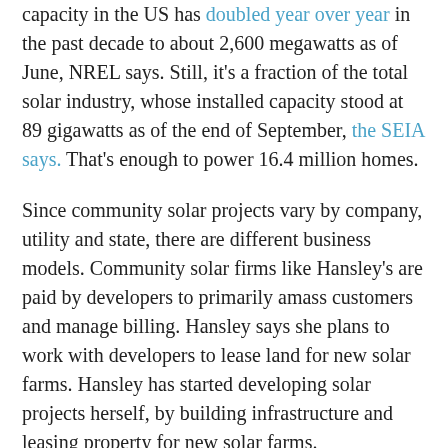capacity in the US has doubled year over year in the past decade to about 2,600 megawatts as of June, NREL says. Still, it's a fraction of the total solar industry, whose installed capacity stood at 89 gigawatts as of the end of September, the SEIA says. That's enough to power 16.4 million homes.
Since community solar projects vary by company, utility and state, there are different business models. Community solar firms like Hansley's are paid by developers to primarily amass customers and manage billing. Hansley says she plans to work with developers to lease land for new solar farms. Hansley has started developing solar projects herself, by building infrastructure and leasing property for new solar farms.
Before starting out on her own, Hansley worked at a community solar business in Maryland. She visited blighted neighborhoods in Baltimore—including the one where Freddie Gray was arrested and later died in